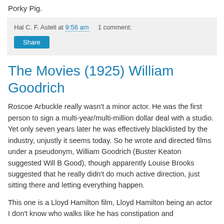Porky Pig.
Hal C. F. Astell at 9:56 am   1 comment:
Share
The Movies (1925) William Goodrich
Roscoe Arbuckle really wasn't a minor actor. He was the first person to sign a multi-year/multi-million dollar deal with a studio. Yet only seven years later he was effectively blacklisted by the industry, unjustly it seems today. So he wrote and directed films under a pseudonym, William Goodrich (Buster Keaton suggested Will B Good), though apparently Louise Brooks suggested that he really didn't do much active direction, just sitting there and letting everything happen.
This one is a Lloyd Hamilton film, Lloyd Hamilton being an actor I don't know who walks like he has constipation and